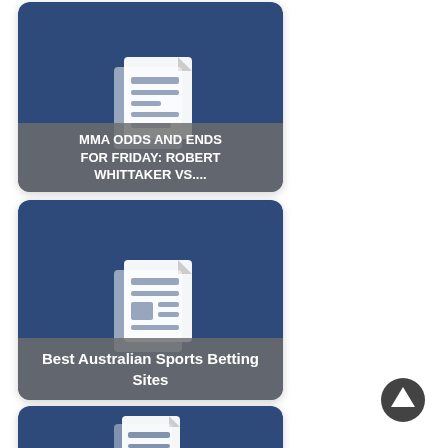[Figure (screenshot): Card with news document icon and label reading MMA ODDS AND ENDS FOR FRIDAY: ROBERT WHITTAKER VS....]
[Figure (screenshot): Card with news document icon and label reading Best Australian Sports Betting Sites]
[Figure (screenshot): Card with news document icon and label reading YOEL ROMERO VS.]
[Figure (other): Circular up-arrow navigation button]